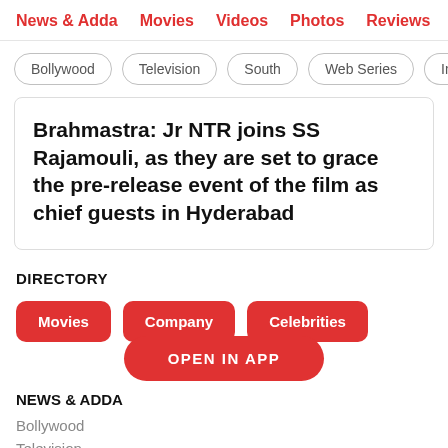News & Adda  Movies  Videos  Photos  Reviews  Bo
Bollywood
Television
South
Web Series
Inte
Brahmastra: Jr NTR joins SS Rajamouli, as they are set to grace the pre-release event of the film as chief guests in Hyderabad
DIRECTORY
Movies
Company
Celebrities
OPEN IN APP
NEWS & ADDA
Bollywood
Television